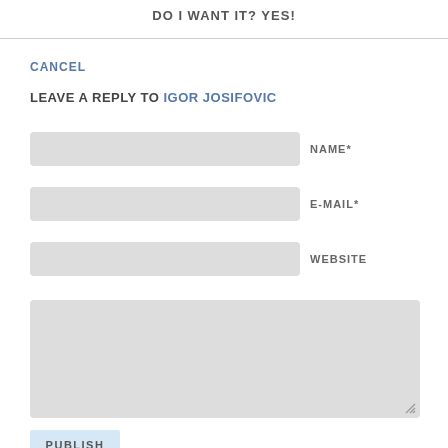DO I WANT IT? YES!
CANCEL
LEAVE A REPLY TO IGOR JOSIFOVIC
NAME*
E-MAIL*
WEBSITE
PUBLISH